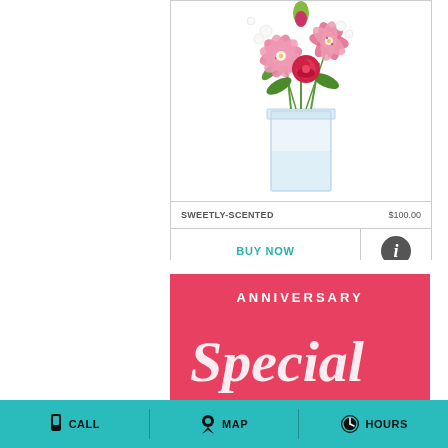[Figure (photo): Flower arrangement in a clear glass vase featuring pink stargazer lilies, red roses, and white accent flowers with green stems]
SWEETLY-SCENTED    $100.00
BUY NOW
[Figure (photo): Anniversary Special promotional banner with red background, white text reading ANNIVERSARY and script text below]
CALL   MAP   HOURS